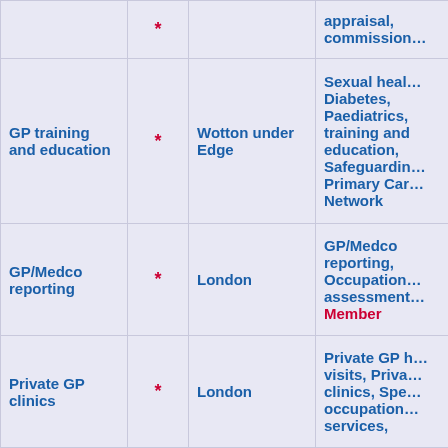| Role | * | Location | Services |
| --- | --- | --- | --- |
|  | * |  | appraisal, commissioning (truncated) |
| GP training and education | * | Wotton under Edge | Sexual health, Diabetes, Paediatrics, training and education, Safeguarding, Primary Care Network |
| GP/Medco reporting | * | London | GP/Medco reporting, Occupational assessment, Member |
| Private GP clinics | * | London | Private GP home visits, Private clinics, Specialist occupational services, |